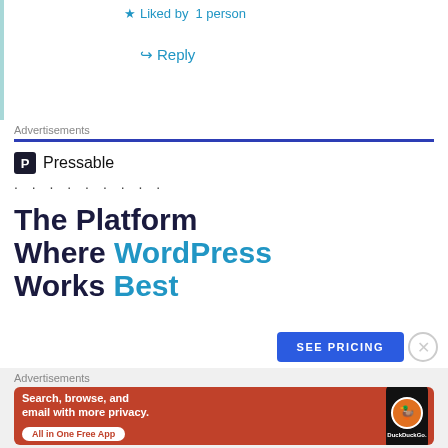★ Liked by 1 person
↳ Reply
Advertisements
[Figure (illustration): Pressable advertisement: Logo with 'P' icon and text 'Pressable', dots row, large headline 'The Platform Where WordPress Works Best', and a blue 'SEE PRICING' button]
Advertisements
[Figure (illustration): DuckDuckGo advertisement banner on orange-red background: 'Search, browse, and email with more privacy. All in One Free App' with DuckDuckGo logo and phone mockup]